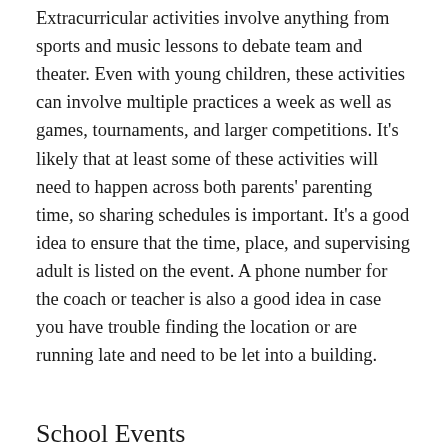Extracurricular activities involve anything from sports and music lessons to debate team and theater. Even with young children, these activities can involve multiple practices a week as well as games, tournaments, and larger competitions. It's likely that at least some of these activities will need to happen across both parents' parenting time, so sharing schedules is important. It's a good idea to ensure that the time, place, and supervising adult is listed on the event. A phone number for the coach or teacher is also a good idea in case you have trouble finding the location or are running late and need to be let into a building.
School Events
From tea with Mom and crazy hair day to Valentine's boxes and birthday treats, having school-aged children comes with a lot of events and paperwork to keep track